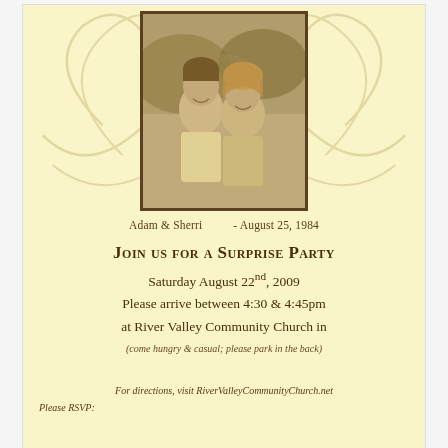[Figure (photo): Sepia-toned wedding photo of Adam and Sherri smiling together outdoors, with decorative swirl background on yellow card]
Adam & Sherri        - August 25, 1984
Join us for a Surprise Party
Saturday August 22nd, 2009
Please arrive between 4:30 & 4:45pm
at River Valley Community Church in
(come hungry & casual; please park in the back)
For directions, visit RiverValleyCommunityChurch.net
Please RSVP:
25th Wedding Anniversary Surprise Party Invitations Anniversary Party Invitations Anniversary Invitations Wedding Anniversary Surprises